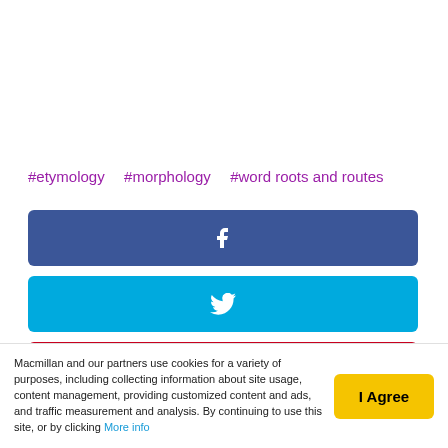#etymology  #morphology  #word roots and routes
[Figure (infographic): Social share buttons: Facebook (dark blue), Twitter (light blue), Pinterest (red), LinkedIn (blue, partially visible)]
Macmillan and our partners use cookies for a variety of purposes, including collecting information about site usage, content management, providing customized content and ads, and traffic measurement and analysis. By continuing to use this site, or by clicking More info